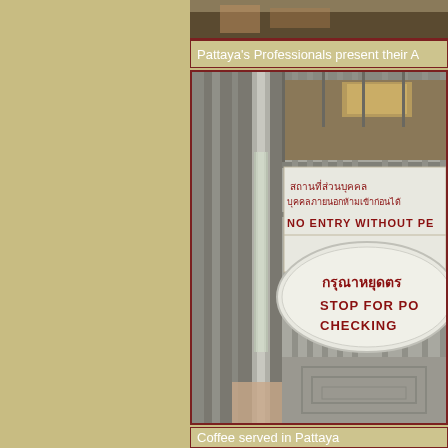[Figure (photo): Partial view of a photo at the top, appears to be an interior or exterior scene with warm tones]
Pattaya's Professionals present their A
[Figure (photo): Photo of a metal gate with Thai and English signs. Signs read: สถานที่ส่วนบุคคล, บุคคลภายนอกห้ามเข้าก่อนได้, NO ENTRY WITHOUT PE[RMISSION], and an oval sign reading กรุณาหยุดตร[วจ], STOP FOR PO[LICE] CHECKING]
Coffee served in Pattaya